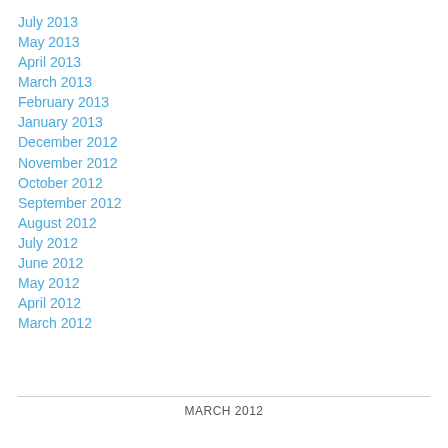July 2013
May 2013
April 2013
March 2013
February 2013
January 2013
December 2012
November 2012
October 2012
September 2012
August 2012
July 2012
June 2012
May 2012
April 2012
March 2012
MARCH 2012